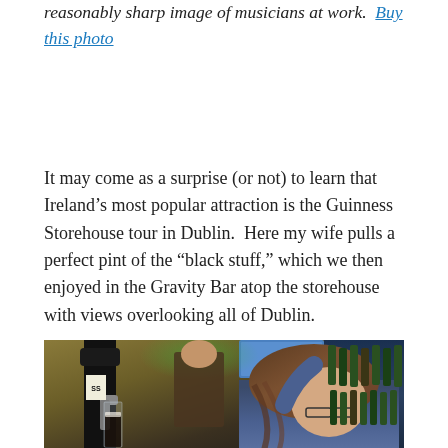reasonably sharp image of musicians at work.  Buy this photo
It may come as a surprise (or not) to learn that Ireland’s most popular attraction is the Guinness Storehouse tour in Dublin.  Here my wife pulls a perfect pint of the “black stuff,” which we then enjoyed in the Gravity Bar atop the storehouse with views overlooking all of Dublin.
[Figure (photo): A woman with long brown hair and glasses pulling a pint at the Guinness Storehouse bar, with beer taps in the foreground and shelves of bottles visible in a dark background, with green and blue lighting.]